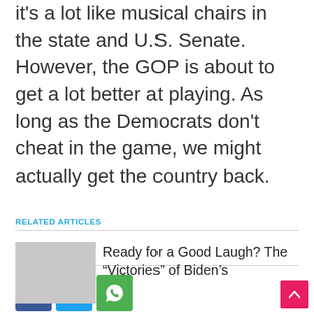it's a lot like musical chairs in the state and U.S. Senate. However, the GOP is about to get a lot better at playing. As long as the Democrats don't cheat in the game, we might actually get the country back.
[Figure (infographic): Social sharing buttons: Facebook (blue), Twitter (light blue), WhatsApp (green)]
RELATED ARTICLES
Ready for a Good Laugh? The “Victories” of Biden’s